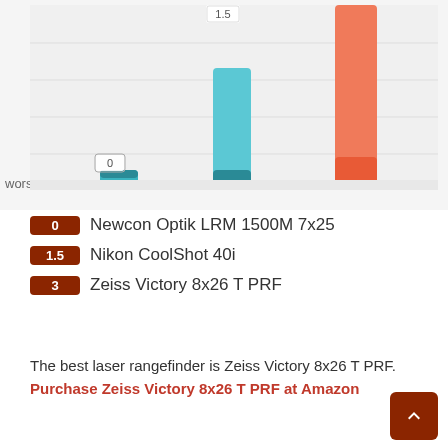[Figure (bar-chart): Laser rangefinder comparison (worse = bottom)]
0 Newcon Optik LRM 1500M 7x25
1.5 Nikon CoolShot 40i
3 Zeiss Victory 8x26 T PRF
The best laser rangefinder is Zeiss Victory 8x26 T PRF. Purchase Zeiss Victory 8x26 T PRF at Amazon